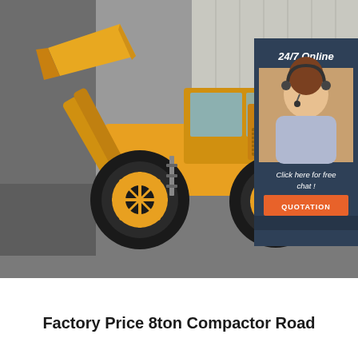[Figure (photo): Yellow 8-ton wheel loader / compactor road machine on a grey industrial background. An overlay panel in the top-right corner shows '24/7 Online' text, a female customer service representative wearing a headset, 'Click here for free chat!' text, and an orange 'QUOTATION' button, all on a dark navy background.]
Factory Price 8ton Compactor Road